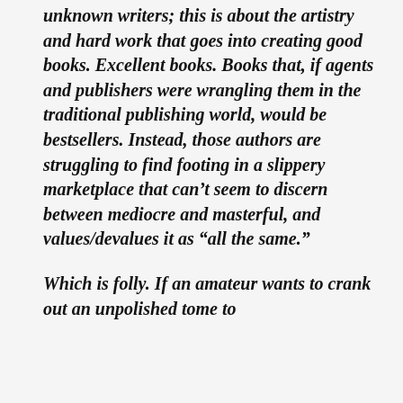unknown writers; this is about the artistry and hard work that goes into creating good books. Excellent books. Books that, if agents and publishers were wrangling them in the traditional publishing world, would be bestsellers. Instead, those authors are struggling to find footing in a slippery marketplace that can't seem to discern between mediocre and masterful, and values/devalues it as “all the same.”
Which is folly. If an amateur wants to crank out an unpolished tome to